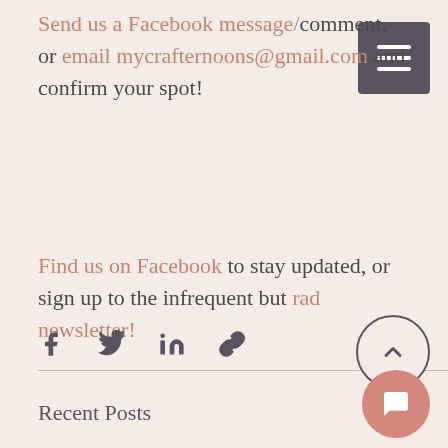Send us a Facebook message/comment, or email mycrafternoons@gmail.com and confirm your spot!
Find us on Facebook to stay updated, or sign up to the infrequent but rad newsletter!
[Figure (other): Social share icons: Facebook, Twitter, LinkedIn, link/copy icon]
Recent Posts